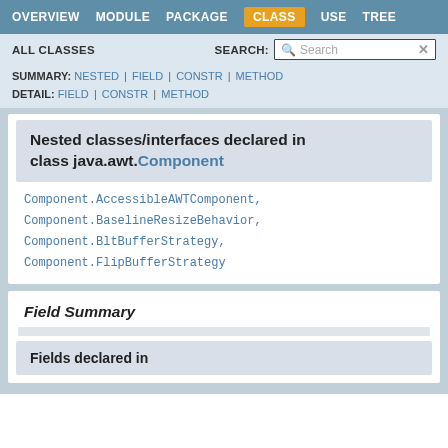OVERVIEW  MODULE  PACKAGE  CLASS  USE  TREE
ALL CLASSES   SEARCH:
SUMMARY: NESTED | FIELD | CONSTR | METHOD  DETAIL: FIELD | CONSTR | METHOD
Nested classes/interfaces declared in class java.awt.Component
Component.AccessibleAWTComponent, Component.BaselineResizeBehavior, Component.BltBufferStrategy, Component.FlipBufferStrategy
Field Summary
Fields declared in